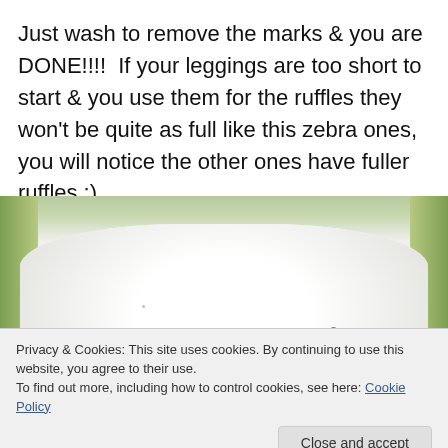Just wash to remove the marks & you are DONE!!!!  If your leggings are too short to start & you use them for the ruffles they won't be quite as full like this zebra ones, you will notice the other ones have fuller ruffles :).
[Figure (photo): Close-up photo of white fabric/leggings with a small reddish-brown spot/mark, with green background visible on the sides.]
Privacy & Cookies: This site uses cookies. By continuing to use this website, you agree to their use.
To find out more, including how to control cookies, see here: Cookie Policy
Close and accept